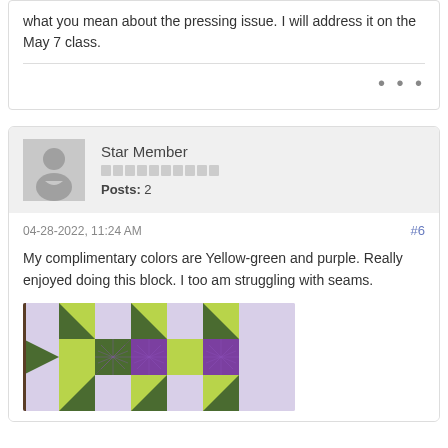what you mean about the pressing issue. I will address it on the May 7 class.
Star Member
Posts: 2
04-28-2022, 11:24 AM
#6
My complimentary colors are Yellow-green and purple. Really enjoyed doing this block. I too am struggling with seams.
[Figure (photo): Quilt block showing a star pattern with yellow-green, purple, and dark green fabric pieces on a light lavender background.]